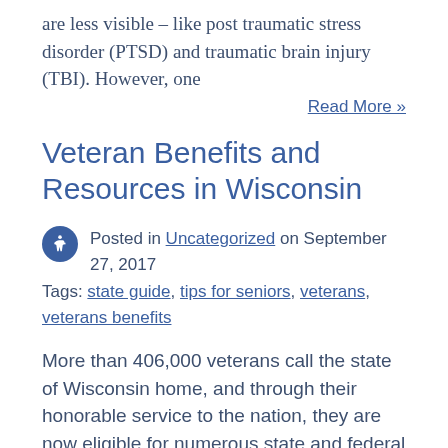are less visible – like post traumatic stress disorder (PTSD) and traumatic brain injury (TBI). However, one
Read More »
Veteran Benefits and Resources in Wisconsin
Posted in Uncategorized on September 27, 2017
Tags: state guide, tips for seniors, veterans, veterans benefits
More than 406,000 veterans call the state of Wisconsin home, and through their honorable service to the nation, they are now eligible for numerous state and federal benefits that make life healthier and more affordable for both them